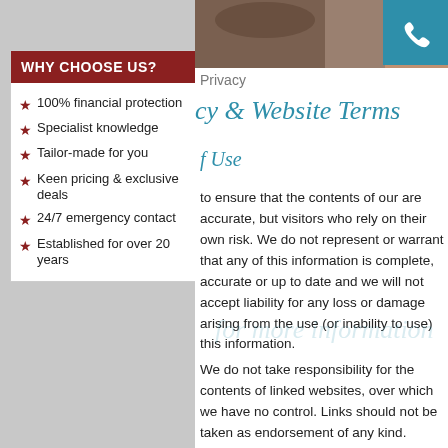WHY CHOOSE US?
100% financial protection
Specialist knowledge
Tailor-made for you
Keen pricing & exclusive deals
24/7 emergency contact
Established for over 20 years
[Figure (photo): Decorative header photo strip with animals and a teal phone icon]
Privacy
cy & Website Terms
f Use
to ensure that the contents of our are accurate, but visitors who rely on their own risk. We do not represent or warrant that any of this information is complete, accurate or up to date and we will not accept liability for any loss or damage arising from the use (or inability to use) this information.
We do not take responsibility for the contents of linked websites, over which we have no control. Links should not be taken as endorsement of any kind.